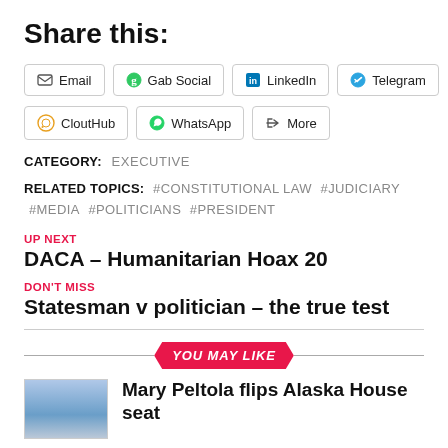Share this:
Email | Gab Social | LinkedIn | Telegram | CloutHub | WhatsApp | More
CATEGORY: EXECUTIVE
RELATED TOPICS: #CONSTITUTIONAL LAW #JUDICIARY #MEDIA #POLITICIANS #PRESIDENT
UP NEXT
DACA – Humanitarian Hoax 20
DON'T MISS
Statesman v politician – the true test
YOU MAY LIKE
Mary Peltola flips Alaska House seat